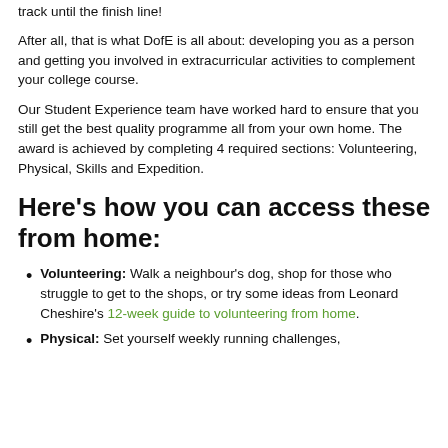make sure you get off to the best possible start and keep you on track until the finish line!
After all, that is what DofE is all about: developing you as a person and getting you involved in extracurricular activities to complement your college course.
Our Student Experience team have worked hard to ensure that you still get the best quality programme all from your own home. The award is achieved by completing 4 required sections: Volunteering, Physical, Skills and Expedition.
Here's how you can access these from home:
Volunteering: Walk a neighbour's dog, shop for those who struggle to get to the shops, or try some ideas from Leonard Cheshire's 12-week guide to volunteering from home.
Physical: Set yourself weekly running challenges,